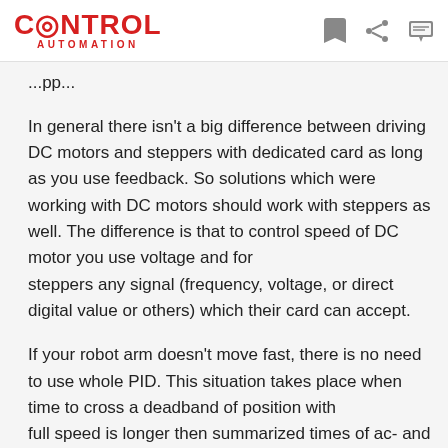CONTROL AUTOMATION
...pp...
In general there isn't a big difference between driving DC motors and steppers with dedicated card as long as you use feedback. So solutions which were working with DC motors should work with steppers as well. The difference is that to control speed of DC motor you use voltage and for steppers any signal (frequency, voltage, or direct digital value or others) which their card can accept.
If your robot arm doesn't move fast, there is no need to use whole PID. This situation takes place when time to cross a deadband of position with full speed is longer then summarized times of ac- and deceleration. It seems to be enough using a simple